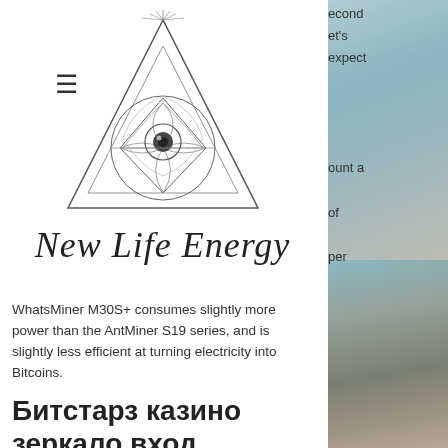[Figure (logo): All-seeing eye in triangle with geometric mandala design — New Life Energy logo]
New Life Energy
WhatsMiner M30S+ consumes slightly more power than the AntMiner S19 series, and is slightly less efficient at turning electricity into Bitcoins.
Битстарз казино зеркало вход официальный сайт контрольчестности.рф
Don't expect to earn more on the first day